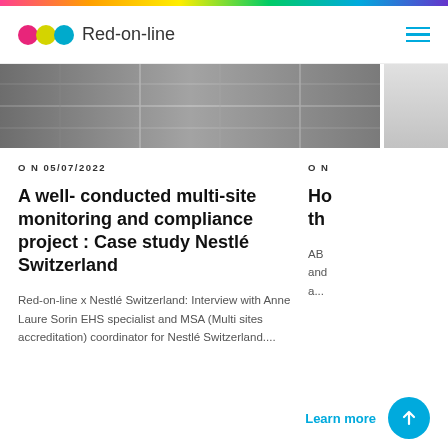Red-on-line
[Figure (photo): Grayscale industrial ceiling/hallway photograph, partially cut off on right side]
ON 05/07/2022
A well- conducted multi-site monitoring and compliance project : Case study Nestlé Switzerland
Red-on-line x Nestlé Switzerland: Interview with Anne Laure Sorin EHS specialist and MSA (Multi sites accreditation) coordinator for Nestlé Switzerland....
ON
Ho th
AB and a...
Learn more